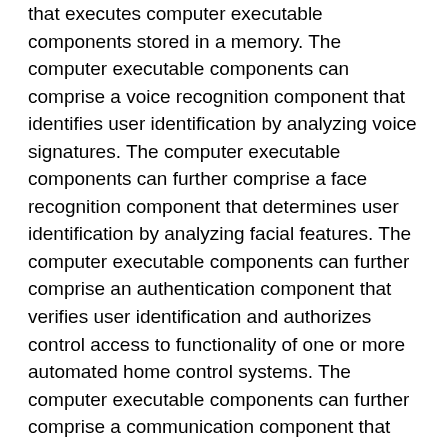that executes computer executable components stored in a memory. The computer executable components can comprise a voice recognition component that identifies user identification by analyzing voice signatures. The computer executable components can further comprise a face recognition component that determines user identification by analyzing facial features. The computer executable components can further comprise an authentication component that verifies user identification and authorizes control access to functionality of one or more automated home control systems. The computer executable components can further comprise a communication component that facilitates communication between the one or more automated home control systems and one or more devices. The computer executable components can further comprise a service component that executes a set of functions based on authorized user commands and information communicated from the one or more devices. The computer executable components can further comprise a machine learning component that learns user preferences by correlating a set of functions with the authorized user